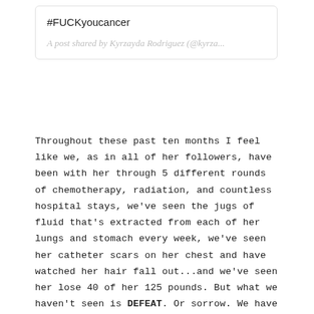#FUCKyoucancer
A post shared by Kyrzayda Rodriguez (@kyrza...
Throughout these past ten months I feel like we, as in all of her followers, have been with her through 5 different rounds of chemotherapy, radiation, and countless hospital stays, we've seen the jugs of fluid that's extracted from each of her lungs and stomach every week, we've seen her catheter scars on her chest and have watched her hair fall out...and we've seen her lose 40 of her 125 pounds. But what we haven't seen is DEFEAT. Or sorrow. We have NEVER seen her give up and I'm pretty confident that we never will. Two weeks ago she shared that she would like to stop the treatments which sunk my heart a